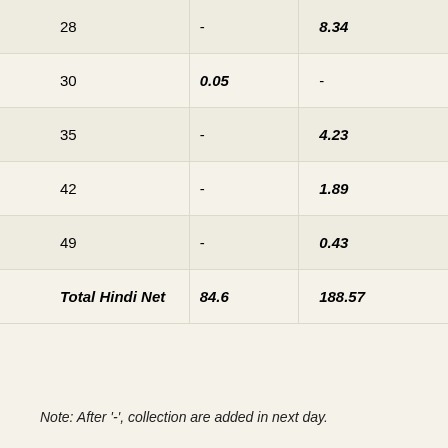| 28 | - | 8.34 |
| 30 | 0.05 | - |
| 35 | - | 4.23 |
| 42 | - | 1.89 |
| 49 | - | 0.43 |
| Total Hindi Net | 84.6 | 188.57 |
Note: After '-', collection are added in next day.